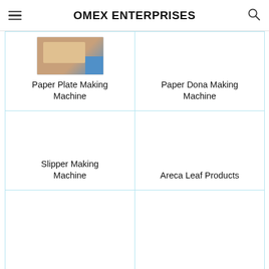OMEX ENTERPRISES
[Figure (photo): Paper plate making machine photo]
Paper Plate Making Machine
[Figure (photo): Paper dona making machine (empty image area)]
Paper Dona Making Machine
[Figure (photo): Slipper making machine (empty image area)]
Slipper Making Machine
[Figure (photo): Areca leaf products (empty image area)]
Areca Leaf Products
[Figure (photo): Bottom-left cell (partially visible, empty)]
[Figure (photo): Bottom-right cell (partially visible, empty)]